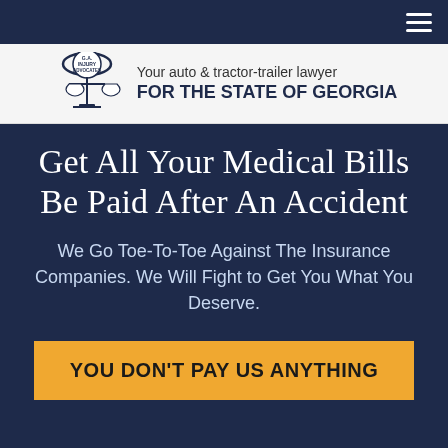[Figure (logo): GA Injury Advocates logo with scales of justice icon and text 'Your auto & tractor-trailer lawyer FOR THE STATE OF GEORGIA']
Get All Your Medical Bills Be Paid After An Accident
We Go Toe-To-Toe Against The Insurance Companies. We Will Fight to Get You What You Deserve.
YOU DON'T PAY US ANYTHING